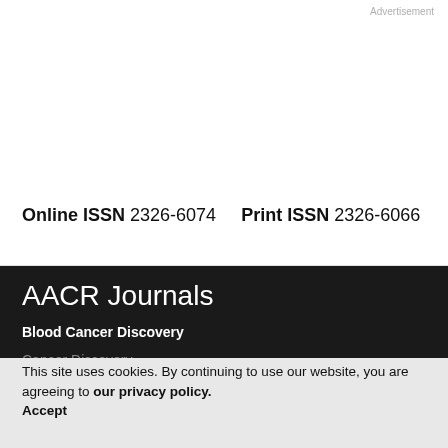Advertisement
Online ISSN 2326-6074    Print ISSN 2326-6066
AACR Journals
Blood Cancer Discovery
Cancer Discovery
This site uses cookies. By continuing to use our website, you are agreeing to our privacy policy. Accept
Cancer Prevention Research